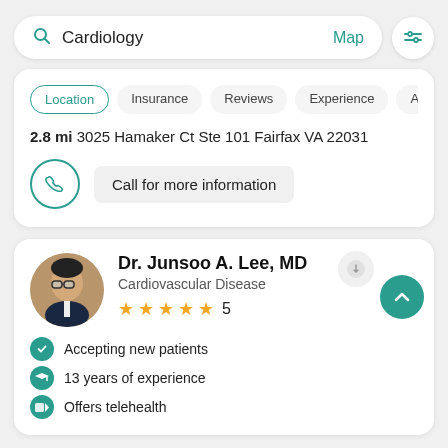[Figure (screenshot): Search bar with magnifier icon, text 'Cardiology', Map link, and filter icon button]
Location | Insurance | Reviews | Experience | Abo
2.8 mi 3025 Hamaker Ct Ste 101 Fairfax VA 22031
Call for more information
Dr. Junsoo A. Lee, MD
Cardiovascular Disease
5
Accepting new patients
13 years of experience
Offers telehealth